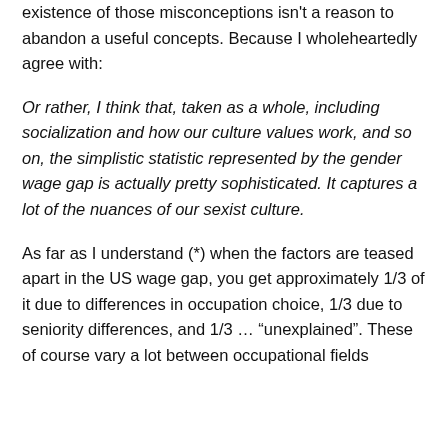existence of those misconceptions isn't a reason to abandon a useful concepts. Because I wholeheartedly agree with:
Or rather, I think that, taken as a whole, including socialization and how our culture values work, and so on, the simplistic statistic represented by the gender wage gap is actually pretty sophisticated. It captures a lot of the nuances of our sexist culture.
As far as I understand (*) when the factors are teased apart in the US wage gap, you get approximately 1/3 of it due to differences in occupation choice, 1/3 due to seniority differences, and 1/3 … "unexplained". These of course vary a lot between occupational fields